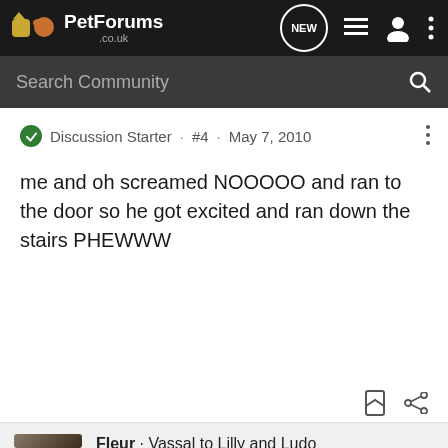PetForums .co.uk — navigation bar with search
Discussion Starter · #4 · May 7, 2010
me and oh screamed NOOOOO and ran to the door so he got excited and ran down the stairs PHEWWW
Fleur · Vassal to Lilly and Ludo
Joined Jul 19, 2008 · 33,764 Posts